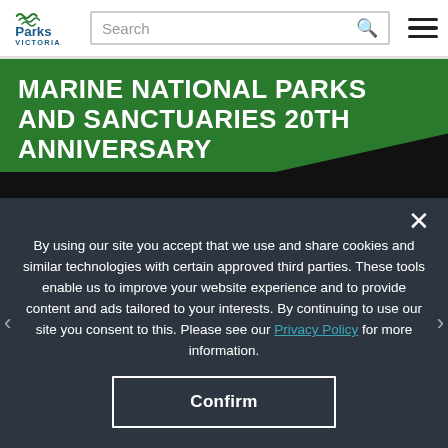Parks Victoria — Search bar and hamburger menu
MARINE NATIONAL PARKS AND SANCTUARIES 20TH ANNIVERSARY
[Figure (screenshot): Dark background image area below green banner]
By using our site you accept that we use and share cookies and similar technologies with certain approved third parties. These tools enable us to improve your website experience and to provide content and ads tailored to your interests. By continuing to use our site you consent to this. Please see our Privacy Policy for more information.
Confirm